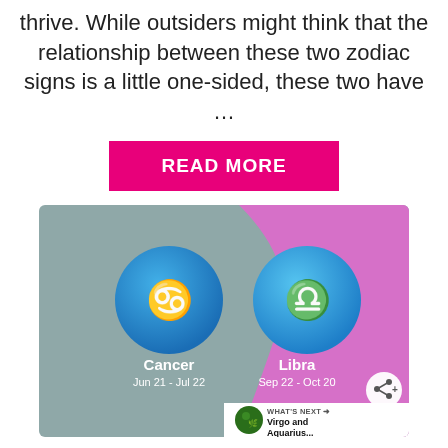thrive. While outsiders might think that the relationship between these two zodiac signs is a little one-sided, these two have …
[Figure (illustration): Zodiac compatibility image showing Cancer (Jun 21 - Jul 22) on a gray background on the left and Libra (Sep 22 - Oct 20) on a pink/purple background on the right, each with their zodiac symbol in a blue circle. Includes a share button and a 'WHAT'S NEXT → Virgo and Aquarius...' overlay.]